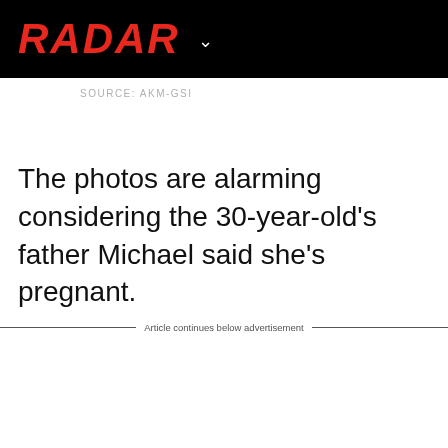[Figure (logo): Radar Online logo in bold red italic text on black background with a dropdown chevron]
SOURCE: AKM-GSI
The photos are alarming considering the 30-year-old's father Michael said she's pregnant.
Article continues below advertisement